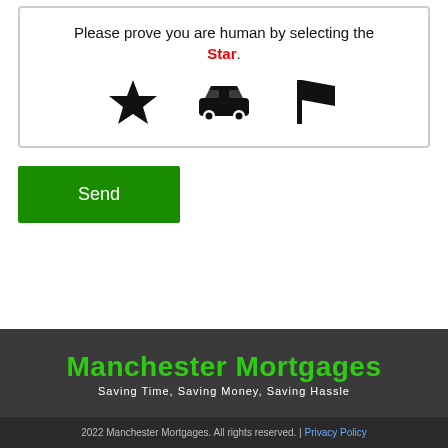Please prove you are human by selecting the Star.
[Figure (illustration): CAPTCHA widget showing three icons: a star, a car, and a flag]
Send
[Figure (logo): Manchester Mortgages logo with tagline: Saving Time, Saving Money, Saving Hassle]
2022 Manchester Mortgages. All rights reserved. | Privacy Policy